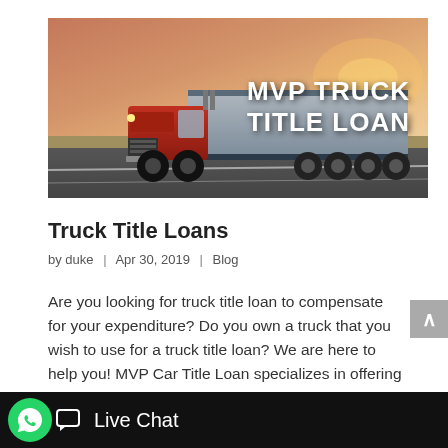[Figure (photo): Red semi-truck driving on a highway with a sunset sky background. Large white bold text overlay reads 'MVP TRUCK TITLE LOAN']
Truck Title Loans
by duke | Apr 30, 2019 | Blog
Are you looking for truck title loan to compensate for your expenditure? Do you own a truck that you wish to use for a truck title loan? We are here to help you! MVP Car Title Loan specializes in offering a lucrative amount of loan to any truck owner, who is in the...
[Figure (other): Live Chat bar with WhatsApp icon and chat icon at bottom of page]
[Figure (logo): TrustedSite CERTIFIED SECURE badge at bottom right]